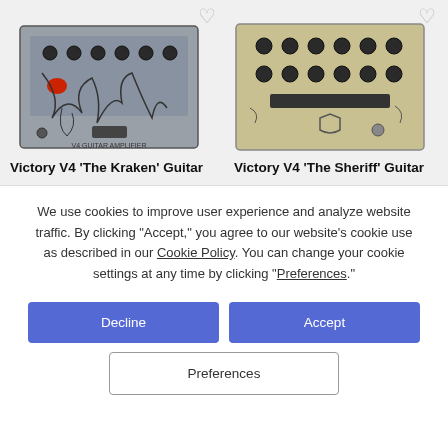[Figure (photo): Victory V4 'The Kraken' guitar amplifier pedal with illustrated octopus art on gray metal enclosure]
[Figure (photo): Victory V4 'The Sheriff' guitar amplifier pedal with illustrated sheriff badge art on gold/beige metal enclosure]
Victory V4 'The Kraken' Guitar
Victory V4 'The Sheriff' Guitar
We use cookies to improve user experience and analyze website traffic. By clicking “Accept,” you agree to our website’s cookie use as described in our Cookie Policy. You can change your cookie settings at any time by clicking “Preferences.”